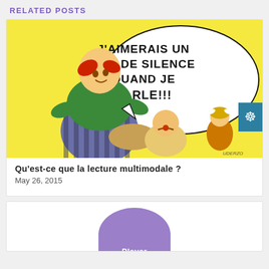RELATED POSTS
[Figure (illustration): Asterix comic panel showing characters with a speech bubble reading 'J'AIMERAIS UN PEU DE SILENCE QUAND JE PARLE!!!']
Qu'est-ce que la lecture multimodale ?
May 26, 2015
[Figure (screenshot): Partially visible purple player circle/button at bottom of page]